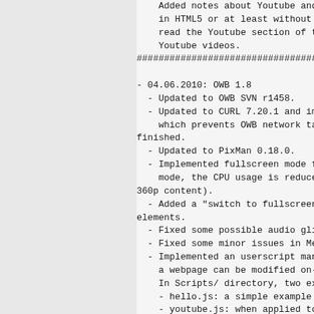Added notes about Youtube and... in HTML5 or at least without... read the Youtube section of t... Youtube videos.
###################################
- 04.06.2010: OWB 1.8
- Updated to OWB SVN r1458.
- Updated to CURL 7.20.1 and im... which prevents OWB network ta... finished.
- Updated to PixMan 0.18.0.
- Implemented fullscreen mode f... mode, the CPU usage is reduce... 360p content).
- Added a "switch to fullscreen... elements.
- Fixed some possible audio gli...
- Fixed some minor issues in Me...
- Implemented an userscript man... a webpage can be modified on-... In Scripts/ directory, two ex...
- hello.js: a simple example
- youtube.js: when applied to... adds direct lin...